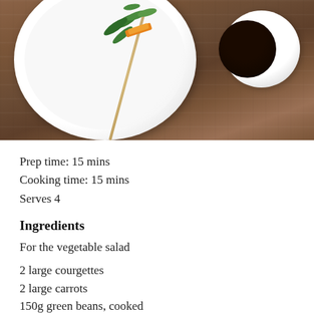[Figure (photo): Overhead photo of a white plate with green vegetable skewer and orange garnish on a wooden board, with a small white bowl of dark soy sauce on the right side]
Prep time: 15 mins
Cooking time: 15 mins
Serves 4
Ingredients
For the vegetable salad
2 large courgettes
2 large carrots
150g green beans, cooked
1tbsp orange juice